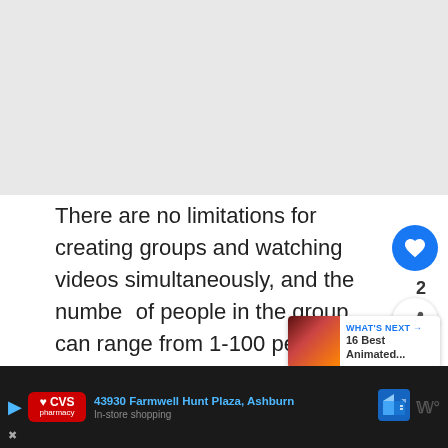There are no limitations for creating groups and watching videos simultaneously, and the number of people in the group can range from 1-100 people.
Mycircle.tv gives you an option to invite friends through Facebook connect or send them a
[Figure (screenshot): Bottom advertisement bar showing CVS Pharmacy ad with address '43930 Farmwell Hunt Plaza, Ashburn' on dark background]